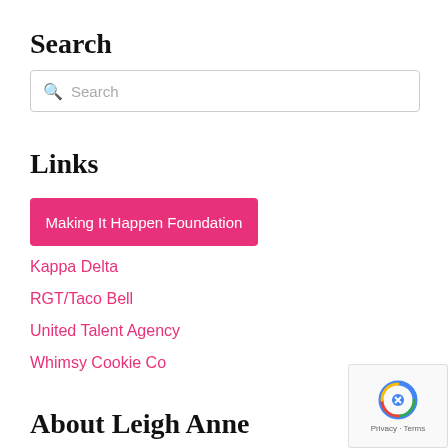Search
Search
Links
Making It Happen Foundation
Kappa Delta
RGT/Taco Bell
United Talent Agency
Whimsy Cookie Co
About Leigh Anne
[Figure (other): reCAPTCHA badge with Privacy and Terms text]